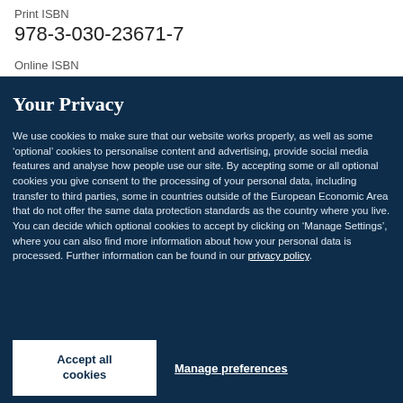Print ISBN
978-3-030-23671-7
Online ISBN
Your Privacy
We use cookies to make sure that our website works properly, as well as some ‘optional’ cookies to personalise content and advertising, provide social media features and analyse how people use our site. By accepting some or all optional cookies you give consent to the processing of your personal data, including transfer to third parties, some in countries outside of the European Economic Area that do not offer the same data protection standards as the country where you live. You can decide which optional cookies to accept by clicking on ‘Manage Settings’, where you can also find more information about how your personal data is processed. Further information can be found in our privacy policy.
Accept all cookies
Manage preferences